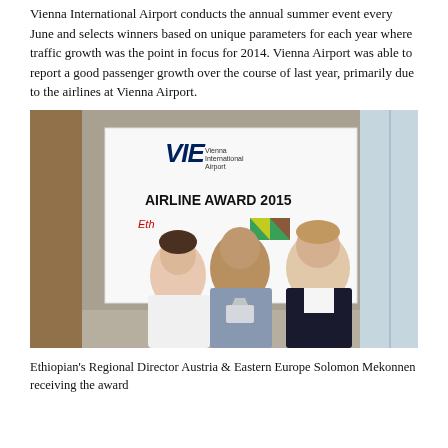Vienna International Airport conducts the annual summer event every June and selects winners based on unique parameters for each year where traffic growth was the point in focus for 2014. Vienna Airport was able to report a good passenger growth over the course of last year, primarily due to the airlines at Vienna Airport.
[Figure (photo): Three people standing in front of a Vienna International Airport Airline Award 2015 banner. A woman in white on the left, a man in the center holding an award trophy, and a man in a dark suit on the right.]
Ethiopian's Regional Director Austria & Eastern Europe Solomon Mekonnen receiving the award